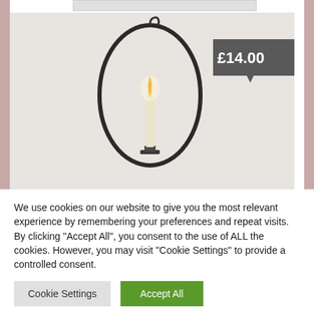[Figure (photo): A candle holder with a black oval metal frame and a lit candle, mounted on a wall. Price badge showing £14.00 overlaid on top right of image.]
We use cookies on our website to give you the most relevant experience by remembering your preferences and repeat visits. By clicking "Accept All", you consent to the use of ALL the cookies. However, you may visit "Cookie Settings" to provide a controlled consent.
Cookie Settings
Accept All